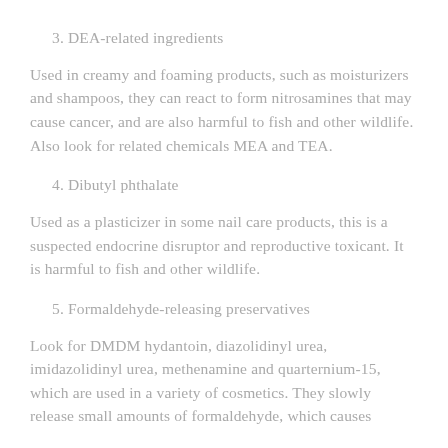3. DEA-related ingredients
Used in creamy and foaming products, such as moisturizers and shampoos, they can react to form nitrosamines that may cause cancer, and are also harmful to fish and other wildlife. Also look for related chemicals MEA and TEA.
4. Dibutyl phthalate
Used as a plasticizer in some nail care products, this is a suspected endocrine disruptor and reproductive toxicant. It is harmful to fish and other wildlife.
5. Formaldehyde-releasing preservatives
Look for DMDM hydantoin, diazolidinyl urea, imidazolidinyl urea, methenamine and quarternium-15, which are used in a variety of cosmetics. They slowly release small amounts of formaldehyde, which causes